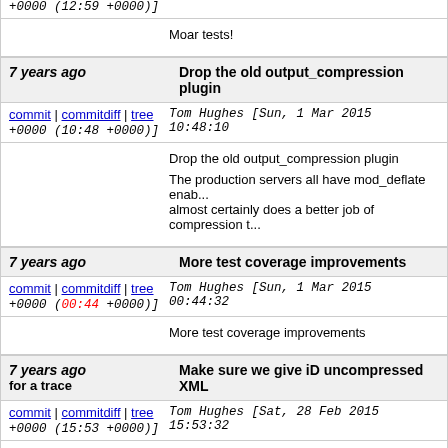+0000 (12:59 +0000)]
Moar tests!
7 years ago | Drop the old output_compression plugin
commit | commitdiff | tree  Tom Hughes [Sun, 1 Mar 2015 10:48:10 +0000 (10:48 +0000)]
Drop the old output_compression plugin

The production servers all have mod_deflate enab... almost certainly does a better job of compression t...
7 years ago | More test coverage improvements
commit | commitdiff | tree  Tom Hughes [Sun, 1 Mar 2015 00:44:32 +0000 (00:44 +0000)]
More test coverage improvements
7 years ago | Make sure we give iD uncompressed XML for a trace
commit | commitdiff | tree  Tom Hughes [Sat, 28 Feb 2015 15:53:32 +0000 (15:53 +0000)]
Make sure we give iD uncompressed XML for a tra...